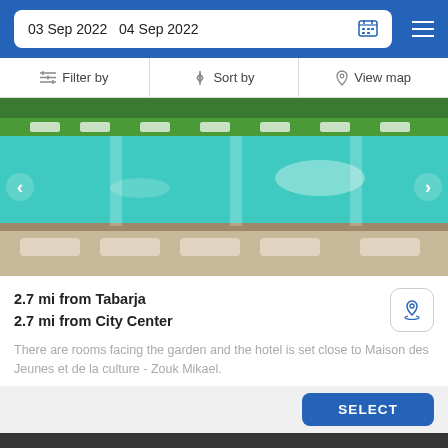03 Sep 2022  04 Sep 2022
Filter by  |  Sort by  |  View map
[Figure (photo): Hotel swimming pool with turquoise water, lounge chairs, and greenery in the background. Navigation arrows on left and right.]
2.7 mi from Tabarja
2.7 mi from City Center
There are rooms facing the garden and the hotel is set close to Maison des Jeunes et de la culture - Zouk Mikael.
SELECT
Booked.net uses cookies that are strictly necessary for its functioning. We do not collect analytical and marketing cookies.